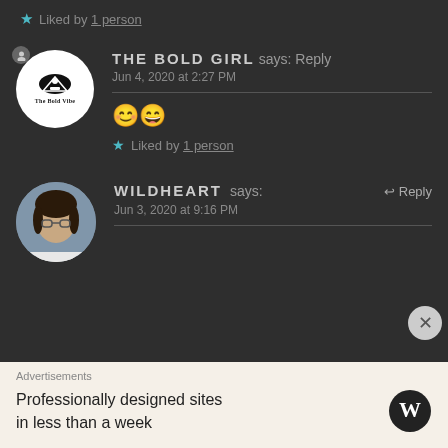★ Liked by 1 person
THE BOLD GIRL says: Reply
Jun 4, 2020 at 2:27 PM
😊😄
★ Liked by 1 person
WILDHEART says: ↩ Reply
Jun 3, 2020 at 9:16 PM
Advertisements
Professionally designed sites in less than a week